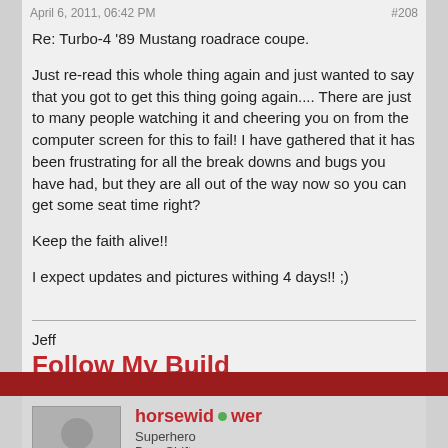April 6, 2011, 06:42 PM | #208
Re: Turbo-4 '89 Mustang roadrace coupe.

Just re-read this whole thing again and just wanted to say that you got to get this thing going again.... There are just to many people watching it and cheering you on from the computer screen for this to fail! I have gathered that it has been frustrating for all the break downs and bugs you have had, but they are all out of the way now so you can get some seat time right?

Keep the faith alive!!

I expect updates and pictures withing 4 days!! ;)
Jeff
Follow My Build
horsewidower
Superhero BangShifter
Join Date: Apr 2008
Posts: